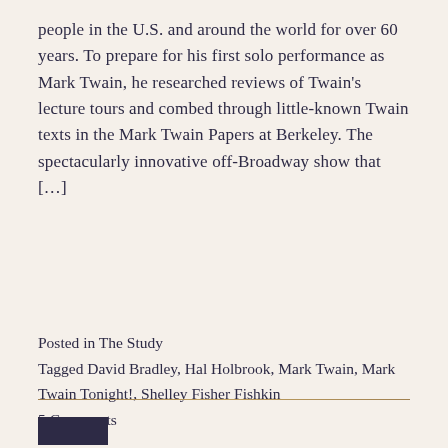people in the U.S. and around the world for over 60 years. To prepare for his first solo performance as Mark Twain, he researched reviews of Twain's lecture tours and combed through little-known Twain texts in the Mark Twain Papers at Berkeley. The spectacularly innovative off-Broadway show that [...]
Posted in The Study
Tagged David Bradley, Hal Holbrook, Mark Twain, Mark Twain Tonight!, Shelley Fisher Fishkin
5 Comments